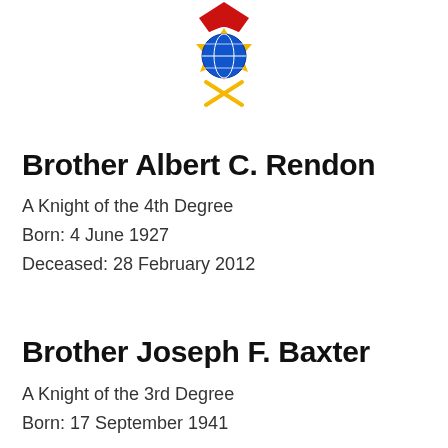[Figure (logo): Knights of Columbus 4th Degree emblem — gold sheriff-star badge with red ribbon/wreath at top, globe in center, crossed tools below]
Brother Albert C. Rendon
A Knight of the 4th Degree
Born: 4 June 1927
Deceased: 28 February 2012
Brother Joseph F. Baxter
A Knight of the 3rd Degree
Born: 17 September 1941